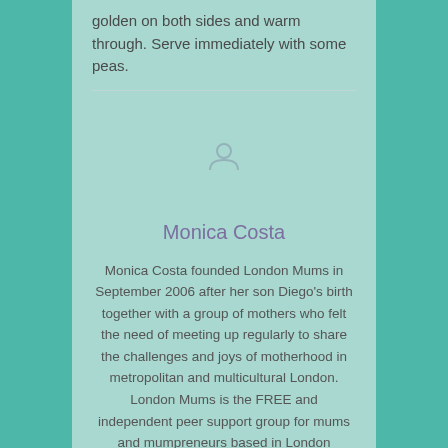golden on both sides and warm through. Serve immediately with some peas.
[Figure (illustration): Loading/avatar spinner icon in a content card]
Monica Costa
Monica Costa founded London Mums in September 2006 after her son Diego's birth together with a group of mothers who felt the need of meeting up regularly to share the challenges and joys of motherhood in metropolitan and multicultural London. London Mums is the FREE and independent peer support group for mums and mumpreneurs based in London https://londonmumsmagazine.com and you can